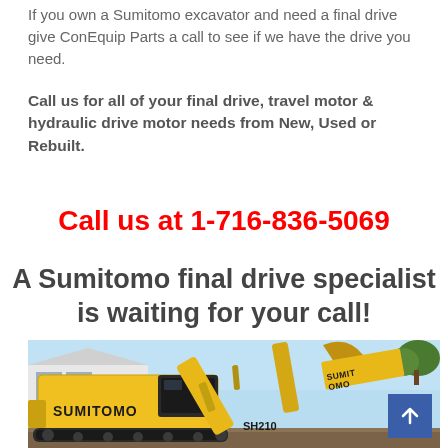If you own a Sumitomo excavator and need a final drive give ConEquip Parts a call to see if we have the drive you need.
Call us for all of your final drive, travel motor & hydraulic drive motor needs from New, Used or Rebuilt.
Call us at 1-716-836-5069
A Sumitomo final drive specialist is waiting for your call!
[Figure (photo): Yellow Sumitomo SH210 excavator in an outdoor setting, with large arm extended upward, showing SUMITOMO branding on the body.]